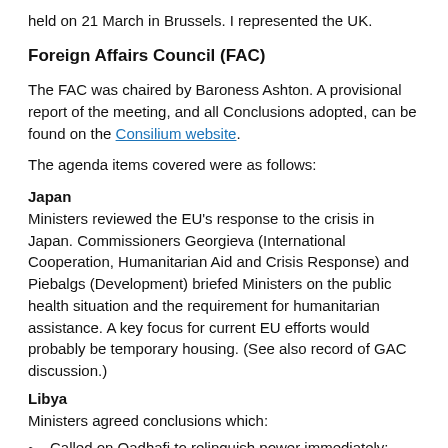held on 21 March in Brussels. I represented the UK.
Foreign Affairs Council (FAC)
The FAC was chaired by Baroness Ashton. A provisional report of the meeting, and all Conclusions adopted, can be found on the Consilium website.
The agenda items covered were as follows:
Japan
Ministers reviewed the EU's response to the crisis in Japan. Commissioners Georgieva (International Cooperation, Humanitarian Aid and Crisis Response) and Piebalgs (Development) briefed Ministers on the public health situation and the requirement for humanitarian assistance. A key focus for current EU efforts would probably be temporary housing. (See also record of GAC discussion.)
Libya
Ministers agreed conclusions which:
Called on Qadhafi to relinquish power immediately;